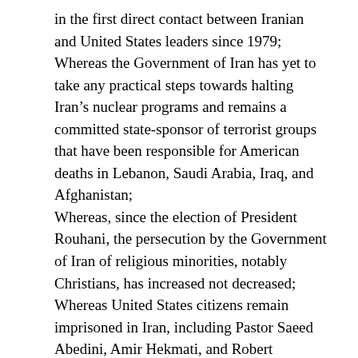in the first direct contact between Iranian and United States leaders since 1979; Whereas the Government of Iran has yet to take any practical steps towards halting Iran's nuclear programs and remains a committed state-sponsor of terrorist groups that have been responsible for American deaths in Lebanon, Saudi Arabia, Iraq, and Afghanistan; Whereas, since the election of President Rouhani, the persecution by the Government of Iran of religious minorities, notably Christians, has increased not decreased; Whereas United States citizens remain imprisoned in Iran, including Pastor Saeed Abedini, Amir Hekmati, and Robert Levinson; Whereas President Rouhani has called Israel the “Zionist state” that has been “a wound that has sat on the body of the Muslim world for years and needs to be removed”, and Iran's Supreme Leader Ayatollah